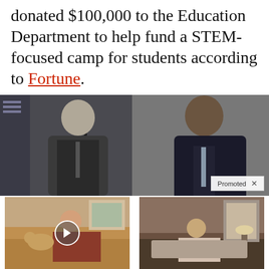donated $100,000 to the Education Department to help fund a STEM-focused camp for students according to Fortune.
[Figure (photo): Two men in suits, one older white-haired man at a microphone and one African American man, photographed at a formal event with an American flag in the background. A 'Promoted X' badge appears in the lower right corner.]
[Figure (photo): Thumbnail of a woman with a dog on a couch, with a video play button overlay. Ad for 'Is Your Dog Licking Their Paws? Eating Grass? (Here's Why)' with 2,129 engagements.]
[Figure (photo): Thumbnail of an elderly person sitting on a bed in dim lighting. Ad for 'How Your Body Warns You That Dementia Is Forming' with 46,093 engagements.]
Is Your Dog Licking Their Paws? Eating Grass? (Here's Why)
2,129
How Your Body Warns You That Dementia Is Forming
46,093